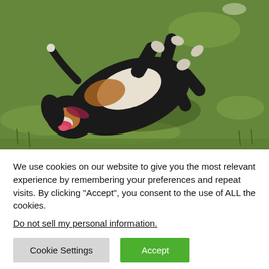[Figure (photo): A dog (appears to be a Beagle or similar breed, black/tan/white tricolor) rolling on its back on green grass, mouth open, legs in the air, enjoying itself outdoors in sunlight.]
We use cookies on our website to give you the most relevant experience by remembering your preferences and repeat visits. By clicking “Accept”, you consent to the use of ALL the cookies.
Do not sell my personal information.
Cookie Settings
Accept